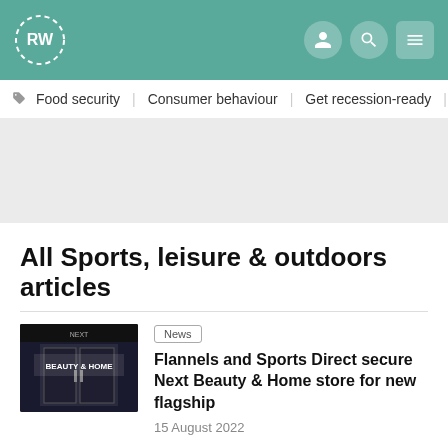RW logo and navigation header with user, search, and menu icons
Food security | Consumer behaviour | Get recession-ready | Su
[Figure (other): Advertisement / banner placeholder area (grey background)]
All Sports, leisure & outdoors articles
[Figure (photo): Storefront photo showing 'BEAUTY & HOME' signage]
News
Flannels and Sports Direct secure Next Beauty & Home store for new flagship
15 August 2022